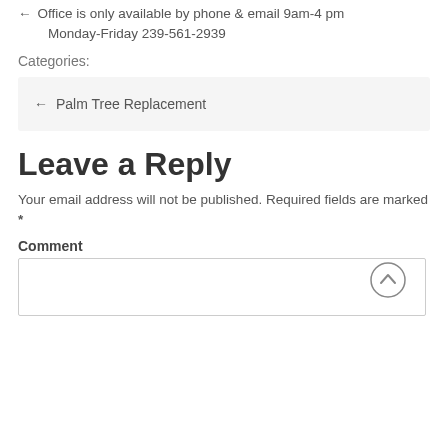Office is only available by phone & email 9am-4 pm Monday-Friday 239-561-2939
Categories:
← Palm Tree Replacement
Leave a Reply
Your email address will not be published. Required fields are marked *
Comment